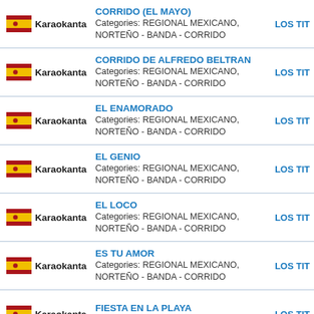Karaokanta | CORRIDO (EL MAYO) | Categories: REGIONAL MEXICANO, NORTEÑO - BANDA - CORRIDO | LOS TIT
Karaokanta | CORRIDO DE ALFREDO BELTRAN | Categories: REGIONAL MEXICANO, NORTEÑO - BANDA - CORRIDO | LOS TIT
Karaokanta | EL ENAMORADO | Categories: REGIONAL MEXICANO, NORTEÑO - BANDA - CORRIDO | LOS TIT
Karaokanta | EL GENIO | Categories: REGIONAL MEXICANO, NORTEÑO - BANDA - CORRIDO | LOS TIT
Karaokanta | EL LOCO | Categories: REGIONAL MEXICANO, NORTEÑO - BANDA - CORRIDO | LOS TIT
Karaokanta | ES TU AMOR | Categories: REGIONAL MEXICANO, NORTEÑO - BANDA - CORRIDO | LOS TIT
Karaokanta | FIESTA EN LA PLAYA | Categories: REGIONAL MEXICANO | LOS TIT